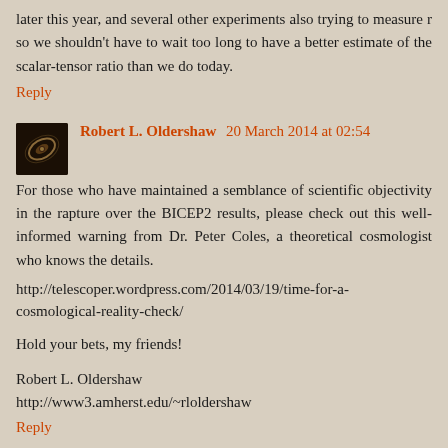later this year, and several other experiments also trying to measure r so we shouldn't have to wait too long to have a better estimate of the scalar-tensor ratio than we do today.
Reply
Robert L. Oldershaw 20 March 2014 at 02:54
For those who have maintained a semblance of scientific objectivity in the rapture over the BICEP2 results, please check out this well-informed warning from Dr. Peter Coles, a theoretical cosmologist who knows the details.
http://telescoper.wordpress.com/2014/03/19/time-for-a-cosmological-reality-check/
Hold your bets, my friends!
Robert L. Oldershaw
http://www3.amherst.edu/~rloldershaw
Reply